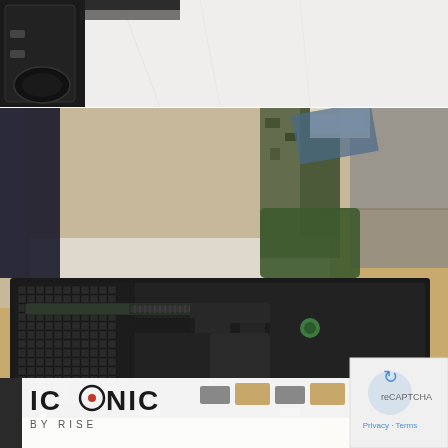[Figure (photo): Top portion of a photo showing the top edge of a hard-shell gun/equipment case on a white surface, with a dark object visible at the top left corner.]
[Figure (photo): Photo showing people unpacking what appears to be a firearm/weapon in a foam-lined hard case. A person in camouflage clothing is visible. Cardboard boxes are in the background. An 'ICONIC BY RISE' branded banner advertisement is overlaid at the bottom left, and a reCAPTCHA / Privacy - Terms widget appears at the bottom right.]